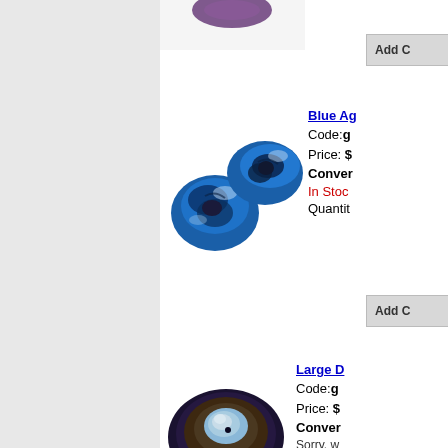[Figure (photo): Partially visible product image at top of page - dark purple/blue beads on white background]
[Figure (other): Add to Cart button (partially visible) - gray rectangle with text 'Add C']
[Figure (photo): Blue Agate ring-shaped beads - two blue and dark marbled stone donut/ring shaped beads on white background]
Blue Ag
Code: g
Price: $
Conver
In Stoc
Quantit
[Figure (other): Add to Cart button - gray rectangle with text 'Add C']
[Figure (photo): Large disc-shaped bead - dark navy/brown round flat bead with sky blue center on white background]
Large D
Code: g
Price: $
Conver
Sorry, w Sky-Blu later.
Quantit